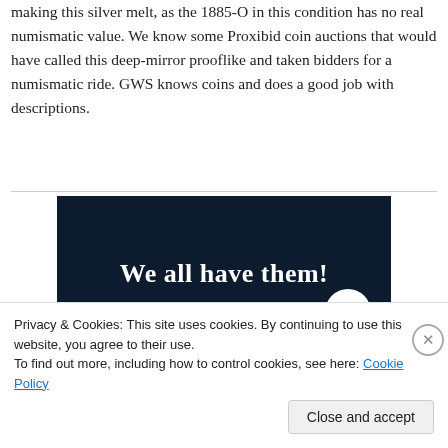making this silver melt, as the 1885-O in this condition has no real numismatic value. We know some Proxibid coin auctions that would have called this deep-mirror prooflike and taken bidders for a numismatic ride. GWS knows coins and does a good job with descriptions.
[Figure (illustration): Dark navy blue advertisement banner with bold white serif text reading 'We all have them!' with a pink/red button bar at the bottom left and a white circle element at the right.]
Privacy & Cookies: This site uses cookies. By continuing to use this website, you agree to their use.
To find out more, including how to control cookies, see here: Cookie Policy
Close and accept